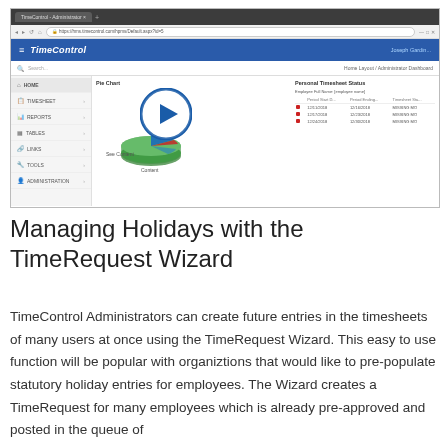[Figure (screenshot): Screenshot of TimeControl web application showing the Administrator Dashboard with a Pie Chart section (with a video play button overlay), left navigation menu (Home, Timesheet, Reports, Tables, Links, Tools, Administration), and Personal Timesheet Status panel on the right showing a table with employee timesheet rows.]
Managing Holidays with the TimeRequest Wizard
TimeControl Administrators can create future entries in the timesheets of many users at once using the TimeRequest Wizard. This easy to use function will be popular with organiztions that would like to pre-populate statutory holiday entries for employees. The Wizard creates a TimeRequest for many employees which is already pre-approved and posted in the queue of